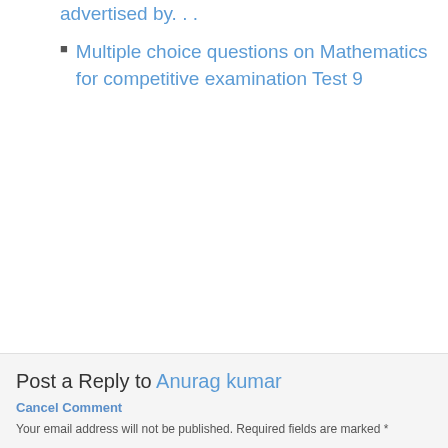advertised by. . .
Multiple choice questions on Mathematics for competitive examination Test 9
Post a Reply to Anurag kumar
Cancel Comment
Your email address will not be published. Required fields are marked *